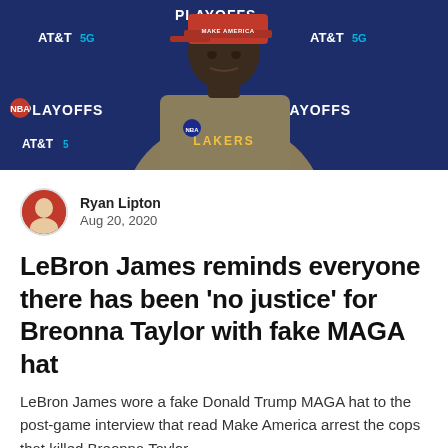[Figure (photo): LeBron James wearing a red MAGA-style hat at an NBA Playoffs post-game interview, with AT&T 5G and NBA Playoffs branding visible in the background. He is wearing a Lakers jersey.]
Ryan Lipton
Aug 20, 2020
LeBron James reminds everyone there has been 'no justice' for Breonna Taylor with fake MAGA hat
LeBron James wore a fake Donald Trump MAGA hat to the post-game interview that read Make America arrest the cops that killed Breonna Taylor